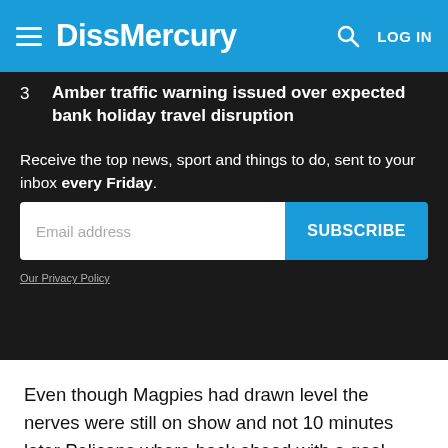DissMercury
3  Amber traffic warning issued over expected bank holiday travel disruption
Receive the top news, sport and things to do, sent to your inbox every Friday.
Email address  SUBSCRIBE
Our Privacy Policy
Even though Magpies had drawn level the nerves were still on show and not 10 minutes later Pelicans where back ahead with a goal from close range after the Magpies defence had tried their best to keep it out.